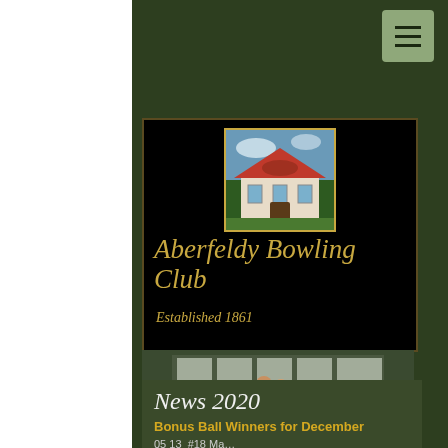[Figure (screenshot): Website screenshot of Aberfeldy Bowling Club. Dark olive green background with white left strip. Top right has a sage green hamburger menu button. Main content area shows a black header box with the club building photo (red-roofed pavilion), club name 'Aberfeldy Bowling Club' in gold italic script, and 'Established 1861' in gold italic. Below is a group photo of club members on the bowling green with left/right navigation arrows. At the bottom is a news section with 'News 2020' heading in white italic and 'Bonus Ball Winners for December' in gold bold text, and partial text '05 13 #18 Ma...']